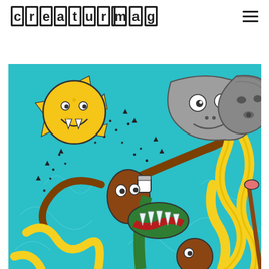creaturemag
[Figure (illustration): Colorful surreal illustration on a teal/turquoise background featuring a smiley-faced sun with fangs and cheese wedges, a tentacled monster creature holding a cup, a large green carnivorous plant with icicle-like teeth, yellow curling worm/noodle shapes, floating cloud-like blob creatures with eyes and mouths, and scattered black dot rain drops.]